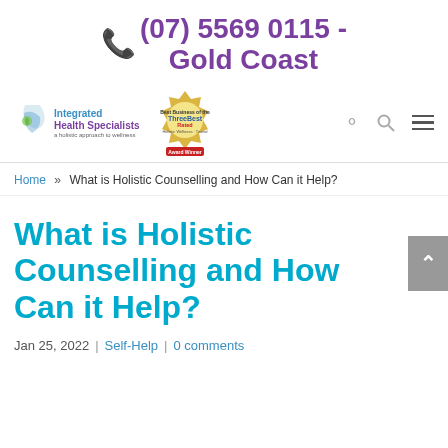(07) 5569 0115 - Gold Coast
[Figure (logo): Integrated Health Specialists logo and ThreeBest Rated award badge, with search and menu icons]
Home » What is Holistic Counselling and How Can it Help?
What is Holistic Counselling and How Can it Help?
Jan 25, 2022 | Self-Help | 0 comments